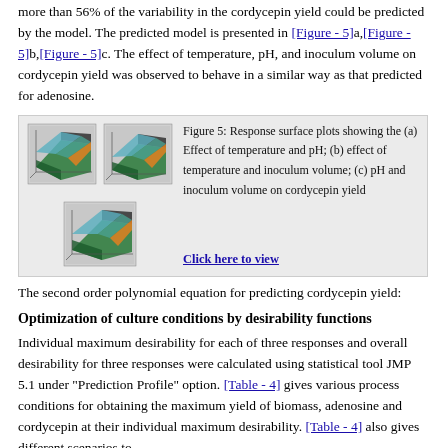more than 56% of the variability in the cordycepin yield could be predicted by the model. The predicted model is presented in [Figure - 5]a,[Figure - 5]b,[Figure - 5]c. The effect of temperature, pH, and inoculum volume on cordycepin yield was observed to behave in a similar way as that predicted for adenosine.
[Figure (illustration): Three 3D response surface plots showing the effect of temperature and pH, temperature and inoculum volume, and pH and inoculum volume on cordycepin yield.]
Figure 5: Response surface plots showing the (a) Effect of temperature and pH; (b) effect of temperature and inoculum volume; (c) pH and inoculum volume on cordycepin yield
The second order polynomial equation for predicting cordycepin yield:
Optimization of culture conditions by desirability functions
Individual maximum desirability for each of three responses and overall desirability for three responses were calculated using statistical tool JMP 5.1 under "Prediction Profile" option. [Table - 4] gives various process conditions for obtaining the maximum yield of biomass, adenosine and cordycepin at their individual maximum desirability. [Table - 4] also gives different scenarios to